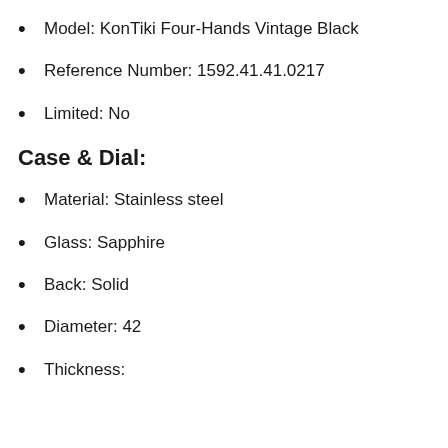Model: KonTiki Four-Hands Vintage Black
Reference Number: 1592.41.41.0217
Limited: No
Case & Dial:
Material: Stainless steel
Glass: Sapphire
Back: Solid
Diameter: 42
Thickness: